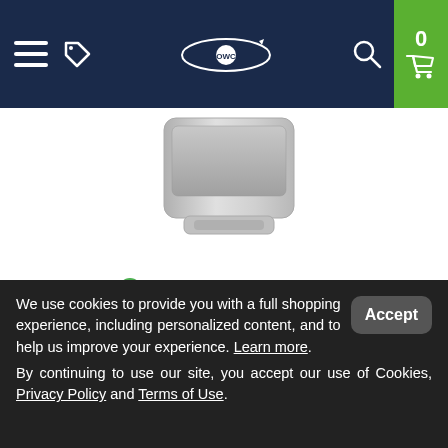OWC store header with navigation: hamburger menu, tag icon, OWC logo, search icon, cart (0)
[Figure (photo): Partial product image showing a silver/aluminum device (appears to be an Apple Mac Pro or similar hardware) on white background]
Used, Good
Ships in 858-860 Days
Only $5,199.00
$729.00
We use cookies to provide you with a full shopping experience, including personalized content, and to help us improve your experience. Learn more. By continuing to use our site, you accept our use of Cookies, Privacy Policy and Terms of Use.